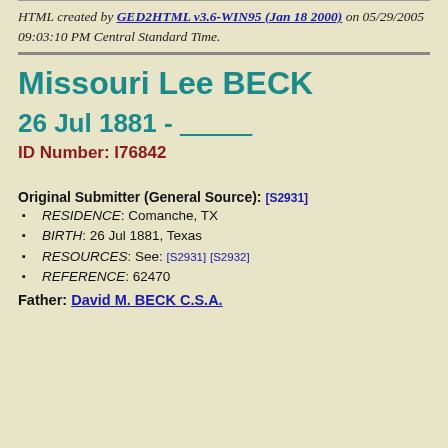HTML created by GED2HTML v3.6-WIN95 (Jan 18 2000) on 05/29/2005 09:03:10 PM Central Standard Time.
Missouri Lee BECK
26 Jul 1881 - _____
ID Number: I76842
Original Submitter (General Source): [S2931]
RESIDENCE: Comanche, TX
BIRTH: 26 Jul 1881, Texas
RESOURCES: See: [S2931] [S2932]
REFERENCE: 62470
Father: David M. BECK C.S.A.